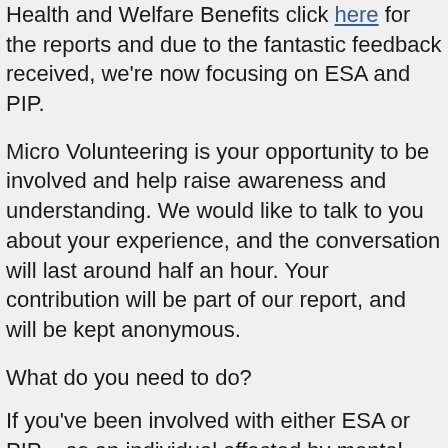Health and Welfare Benefits click here for the reports and due to the fantastic feedback received, we're now focusing on ESA and PIP.
Micro Volunteering is your opportunity to be involved and help raise awareness and understanding. We would like to talk to you about your experience, and the conversation will last around half an hour. Your contribution will be part of our report, and will be kept anonymous.
What do you need to do?
If you've been involved with either ESA or PIP – as an individual affected by mental illness, as a family member or loved one of someone affected by mental illness or as an adviser/support worker of a client – and you're willing to share your experience please contact Pete Bradley on